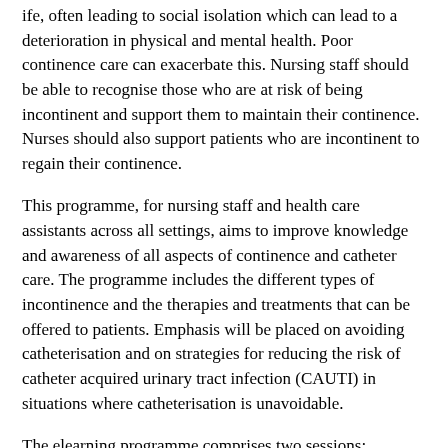ife, often leading to social isolation which can lead to a deterioration in physical and mental health. Poor continence care can exacerbate this. Nursing staff should be able to recognise those who are at risk of being incontinent and support them to maintain their continence. Nurses should also support patients who are incontinent to regain their continence.
This programme, for nursing staff and health care assistants across all settings, aims to improve knowledge and awareness of all aspects of continence and catheter care. The programme includes the different types of incontinence and the therapies and treatments that can be offered to patients. Emphasis will be placed on avoiding catheterisation and on strategies for reducing the risk of catheter acquired urinary tract infection (CAUTI) in situations where catheterisation is unavoidable.
The elearning programme comprises two sessions: “Promoting best practice in continence care” and “Promoting best practice in catheter care”.
To access the elearning please visit: https://www.e-